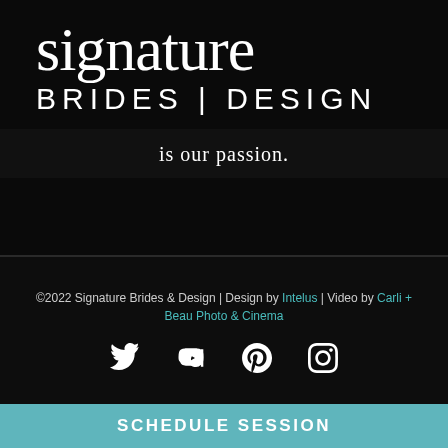signature BRIDES | DESIGN
is our passion.
©2022 Signature Brides & Design | Design by Intelus | Video by Carli + Beau Photo & Cinema
[Figure (infographic): Social media icons: Twitter, YouTube, Pinterest, Instagram]
SCHEDULE SESSION